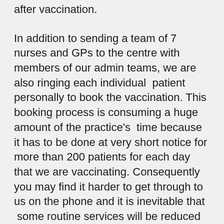after vaccination.
In addition to sending a team of 7 nurses and GPs to the centre with members of our admin teams, we are also ringing each individual  patient personally to book the vaccination. This booking process is consuming a huge amount of the practice's  time because it has to be done at very short notice for more than 200 patients for each day that we are vaccinating. Consequently you may find it harder to get through to us on the phone and it is inevitable that  some routine services will be reduced as there are fewer of us at the Beacon Medical Centre to provide care. This is of course regrettable but we are involved in an historic mass vaccination programme, so we do please ask for you to be understanding and kind to our hard working staff at this present time. During this process, we need our patients to help us. Where possible, please seek advice online via the excellent NHS website or